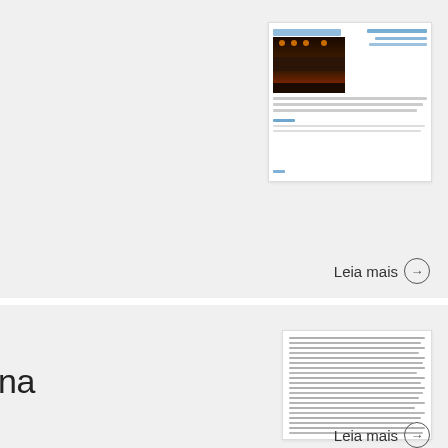[Figure (screenshot): Thumbnail of a webpage with a dark image (theater/performance) and blue text links]
Leia mais →
na
[Figure (screenshot): Thumbnail of a document/article page with gray text lines]
Leia mais →
b – Laboratório de Estética e Filosofia das
[Figure (screenshot): Thumbnail of a document with yellow header elements]
[Figure (other): Back to top button with upward chevron]